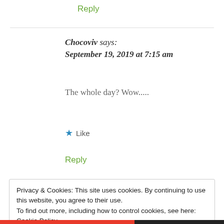Reply
Chocoviv says:
September 19, 2019 at 7:15 am
The whole day? Wow.....
★ Like
Reply
Privacy & Cookies: This site uses cookies. By continuing to use this website, you agree to their use.
To find out more, including how to control cookies, see here: Cookie Policy
Close and accept